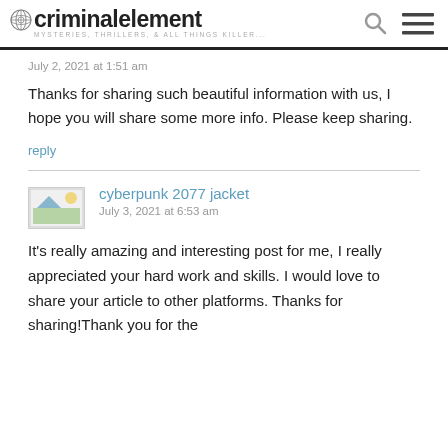criminal element — MYSTERIES, THRILLERS, & ALL THINGS KILLER...
July 2, 2021 at 1:51 am
Thanks for sharing such beautiful information with us, I hope you will share some more info. Please keep sharing.
reply
cyberpunk 2077 jacket
July 3, 2021 at 6:53 am
It's really amazing and interesting post for me, I really appreciated your hard work and skills. I would love to share your article to other platforms. Thanks for sharing!Thank you for the